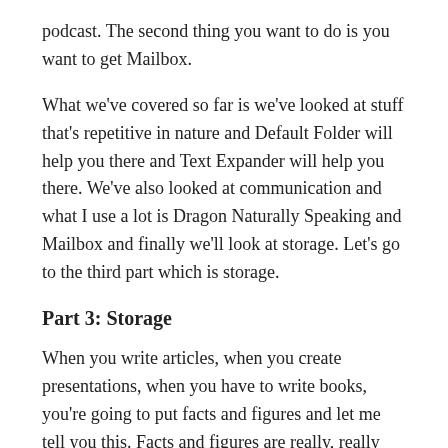podcast. The second thing you want to do is you want to get Mailbox.
What we've covered so far is we've looked at stuff that's repetitive in nature and Default Folder will help you there and Text Expander will help you there. We've also looked at communication and what I use a lot is Dragon Naturally Speaking and Mailbox and finally we'll look at storage. Let's go to the third part which is storage.
Part 3: Storage
When you write articles, when you create presentations, when you have to write books, you're going to put facts and figures and let me tell you this. Facts and figures are really, really boring.